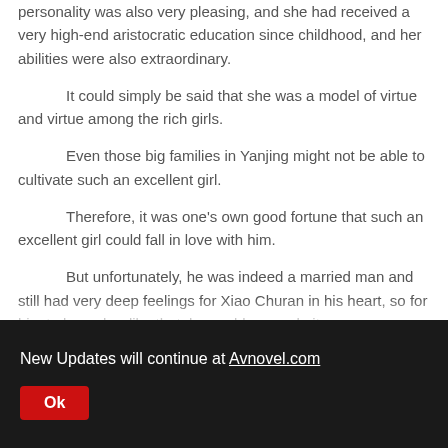personality was also very pleasing, and she had received a very high-end aristocratic education since childhood, and her abilities were also extraordinary.
It could simply be said that she was a model of virtue and virtue among the rich girls.
Even those big families in Yanjing might not be able to cultivate such an excellent girl.
Therefore, it was one's own good fortune that such an excellent girl could fall in love with him.
But unfortunately, he was indeed a married man and still had very deep feelings for Xiao Churan in his heart, so for him to leave her like that, he could never do it.
New Updates will continue at Avnovel.com
Ok